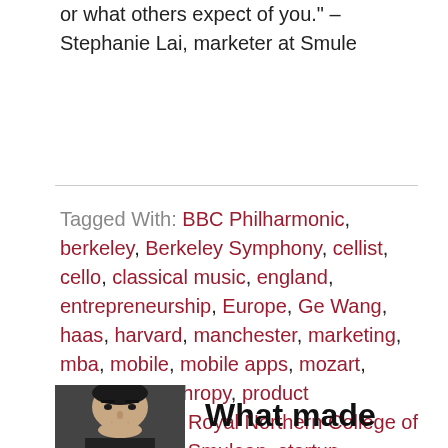or what others expect of you." – Stephanie Lai, marketer at Smule
Tagged With: BBC Philharmonic, berkeley, Berkeley Symphony, cellist, cello, classical music, england, entrepreneurship, Europe, Ge Wang, haas, harvard, manchester, marketing, mba, mobile, mobile apps, mozart, music, philanthropy, product management, Royal Northern College of Music, smule, Smulean, startup, technology
[Figure (photo): Headshot photo of a person, cropped at forehead and chin]
What made